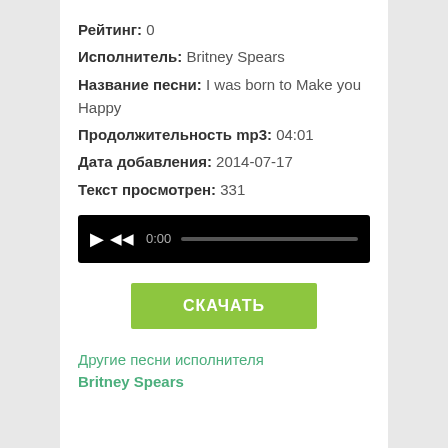Рейтинг: 0
Исполнитель: Britney Spears
Название песни: I was born to Make you Happy
Продолжительность mp3: 04:01
Дата добавления: 2014-07-17
Текст просмотрен: 331
[Figure (screenshot): Audio player bar with play button, rewind button, time display 0:00, and progress track on black background]
СКАЧАТЬ
Другие песни исполнителя Britney Spears